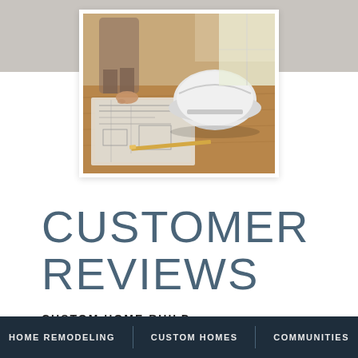[Figure (photo): Construction/home planning photo showing a hard hat (white safety helmet) and blueprints/plans on a wooden surface, with someone standing in the background]
CUSTOMER REVIEWS
CUSTOM HOME BUILD
HOME REMODELING | CUSTOM HOMES | COMMUNITIES